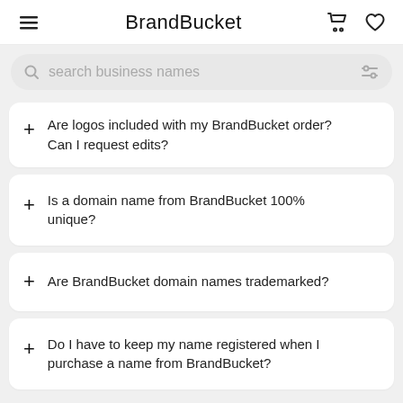BrandBucket
[Figure (screenshot): Search bar with placeholder text 'search business names' and filter icon]
+ Are logos included with my BrandBucket order? Can I request edits?
+ Is a domain name from BrandBucket 100% unique?
+ Are BrandBucket domain names trademarked?
+ Do I have to keep my name registered when I purchase a name from BrandBucket?